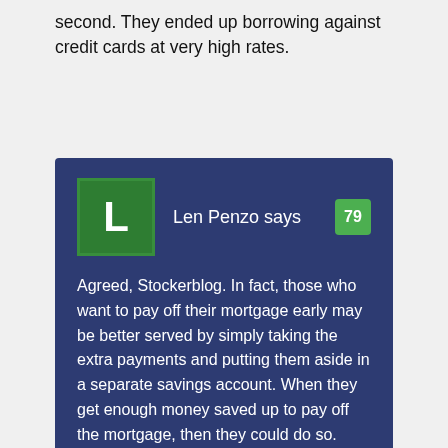second. They ended up borrowing against credit cards at very high rates.
Len Penzo says 79
Agreed, Stockerblog. In fact, those who want to pay off their mortgage early may be better served by simply taking the extra payments and putting them aside in a separate savings account. When they get enough money saved up to pay off the mortgage, then they could do so. That strategy would certainly avoid the situations you speak of.